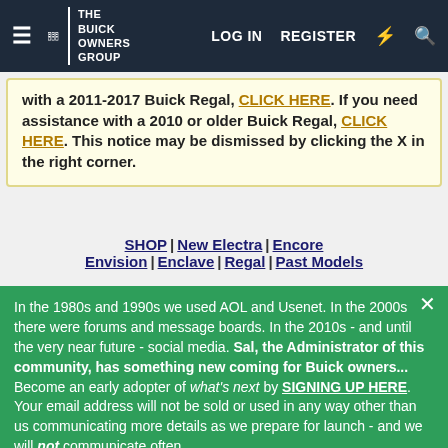The Buick Owners Group — LOG IN | REGISTER
with a 2011-2017 Buick Regal, CLICK HERE. If you need assistance with a 2010 or older Buick Regal, CLICK HERE. This notice may be dismissed by clicking the X in the right corner.
SHOP | New Electra | Encore Envision | Enclave | Regal | Past Models
In the 1980s and 1990s we used AOL and Usenet. In the 2000s there were forums and message boards. In the 2010s - and until the very near future - social media. Sal, the Administrator of this community, has something new coming for Buick owners... Become an early adopter of what's next by SIGNING UP HERE. Your email address will not be sold or used in any way other than us communicating more details as we prepare for launch - and we will not communicate often.